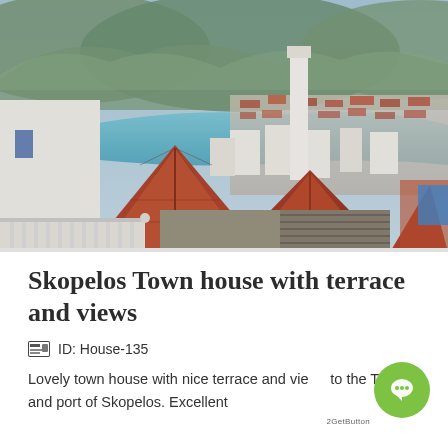[Figure (photo): Aerial/elevated view of Skopelos Town showing red-tiled rooftops of white buildings, the harbor with blue water, and green mountains in the background. Foreground shows a white balcony railing.]
Skopelos Town house with terrace and views
ID: House-135
Lovely town house with nice terrace and views to the Town and port of Skopelos. Excellent